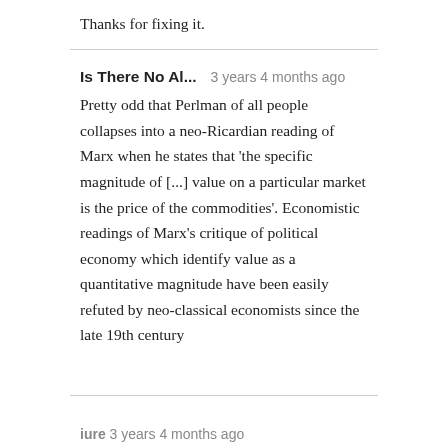Thanks for fixing it.
Is There No Al...   3 years 4 months ago
Pretty odd that Perlman of all people collapses into a neo-Ricardian reading of Marx when he states that 'the specific magnitude of [...] value on a particular market is the price of the commodities'. Economistic readings of Marx's critique of political economy which identify value as a quantitative magnitude have been easily refuted by neo-classical economists since the late 19th century
iure   3 years 4 months ago